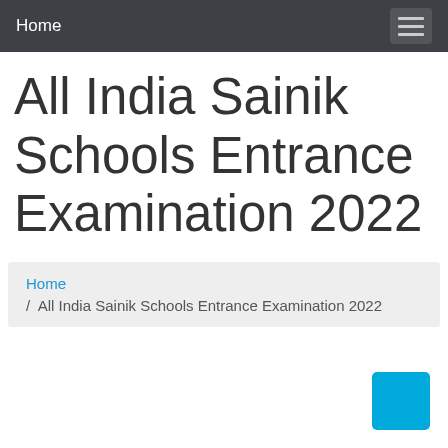Home
All India Sainik Schools Entrance Examination 2022
Home / All India Sainik Schools Entrance Examination 2022